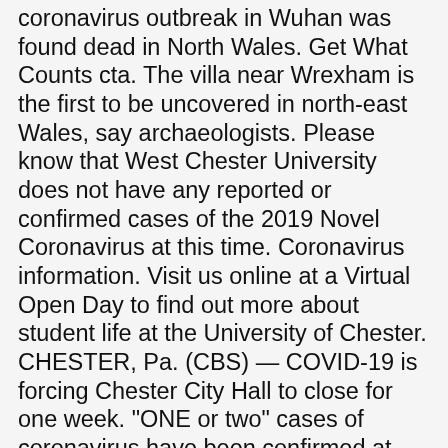coronavirus outbreak in Wuhan was found dead in North Wales. Get What Counts cta. The villa near Wrexham is the first to be uncovered in north-east Wales, say archaeologists. Please know that West Chester University does not have any reported or confirmed cases of the 2019 Novel Coronavirus at this time. Coronavirus information. Visit us online at a Virtual Open Day to find out more about student life at the University of Chester. CHESTER, Pa. (CBS) — COVID-19 is forcing Chester City Hall to close for one week. "ONE or two" cases of coronavirus have been confirmed at the University of Chester. The preliminary result comes ahead of a clinical trial into whether using over-the-counter mouthwash has the potential to reduce the levels of Covid-19 in a patient's saliva. West Chester University remains committed to lessening the burden of students facing expenses related to the disruption of campus operations due to COVID-19. Parkgate Road Any student, faculty, staff/affiliate who has significant in-person, on-campus interaction with others, must get tested once a month. E: enquiries@chester.ac.uk, Modern Slavery Act Transparency Statement